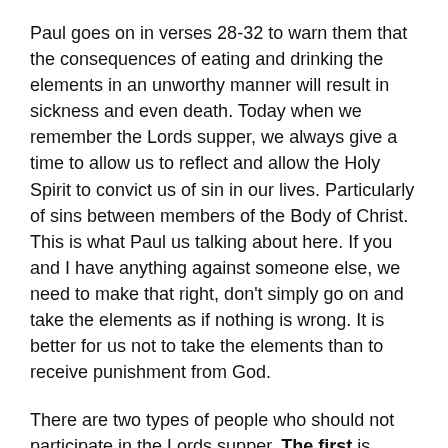Paul goes on in verses 28-32 to warn them that the consequences of eating and drinking the elements in an unworthy manner will result in sickness and even death. Today when we remember the Lords supper, we always give a time to allow us to reflect and allow the Holy Spirit to convict us of sin in our lives. Particularly of sins between members of the Body of Christ. This is what Paul us talking about here. If you and I have anything against someone else, we need to make that right, don't simply go on and take the elements as if nothing is wrong. It is better for us not to take the elements than to receive punishment from God.
There are two types of people who should not participate in the Lords supper. The first is unbelievers, those who do not know Jesus as their personal Lord and Savior. The symbols mean nothing to them. The second